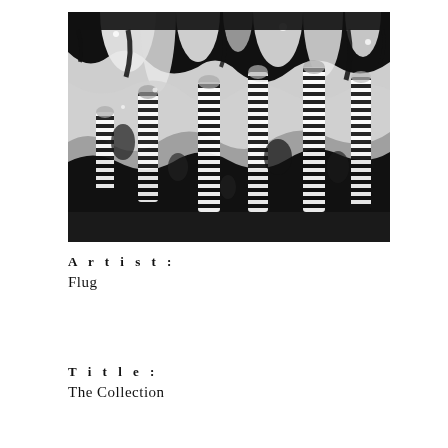[Figure (photo): Black and white abstract photograph showing fluid, organic dripping and flowing patterns with striped, spine-like formations against a dark background. Resembles microscopic or fluid art with high contrast black and white tones.]
Artist:
Flug
Title:
The Collection